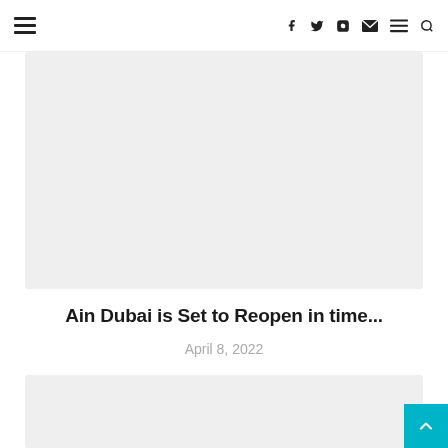Navigation bar with hamburger menu and social icons (Facebook, Twitter, Instagram, Email, Menu, Search)
[Figure (photo): Large light gray placeholder image card]
Ain Dubai is Set to Reopen in time...
April 8, 2022
[Figure (photo): Second light gray placeholder image card]